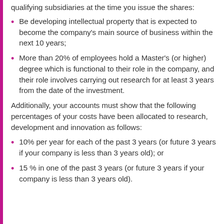qualifying subsidiaries at the time you issue the shares:
Be developing intellectual property that is expected to become the company's main source of business within the next 10 years;
More than 20% of employees hold a Master's (or higher) degree which is functional to their role in the company, and their role involves carrying out research for at least 3 years from the date of the investment.
Additionally, your accounts must show that the following percentages of your costs have been allocated to research, development and innovation as follows:
10% per year for each of the past 3 years (or future 3 years if your company is less than 3 years old); or
15 % in one of the past 3 years (or future 3 years if your company is less than 3 years old).